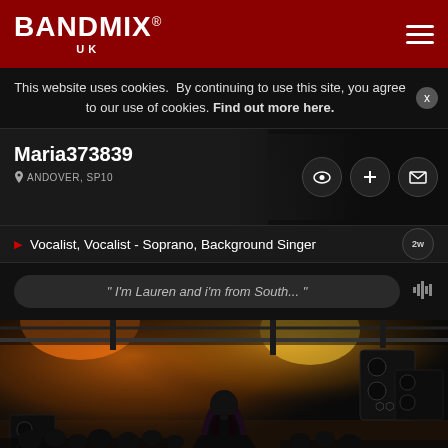BANDMIX® UK
This website uses cookies. By continuing to use this site, you agree to our use of cookies. Find out more here.
Maria373839
ANDOVER, SP10
Vocalist, Vocalist - Soprano, Background Singer
" I'm Lauren and i'm from South... "
[Figure (photo): Concert stage photo showing a performer with long hair viewed from behind, on stage with warm orange/yellow stage lighting, crowd visible in background, speaker/equipment visible.]